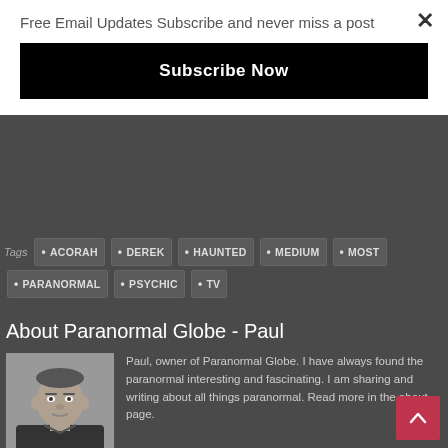Free Email Updates Subscribe and never miss a post
Subscribe Now
• ACORAH • DEREK • HAUNTED • MEDIUM • MOST • PARANORMAL • PSYCHIC • TV
About Paranormal Globe - Paul
[Figure (photo): Black and white photo of Paul, a middle-aged man with short hair wearing a black shirt]
Paul, owner of Paranormal Globe. I have always found the paranormal interesting and fascinating. I am sharing and writing about all things paranormal. Read more in the about page.